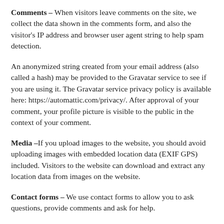Comments – When visitors leave comments on the site, we collect the data shown in the comments form, and also the visitor's IP address and browser user agent string to help spam detection.
An anonymized string created from your email address (also called a hash) may be provided to the Gravatar service to see if you are using it. The Gravatar service privacy policy is available here: https://automattic.com/privacy/. After approval of your comment, your profile picture is visible to the public in the context of your comment.
Media –If you upload images to the website, you should avoid uploading images with embedded location data (EXIF GPS) included. Visitors to the website can download and extract any location data from images on the website.
Contact forms – We use contact forms to allow you to ask questions, provide comments and ask for help.